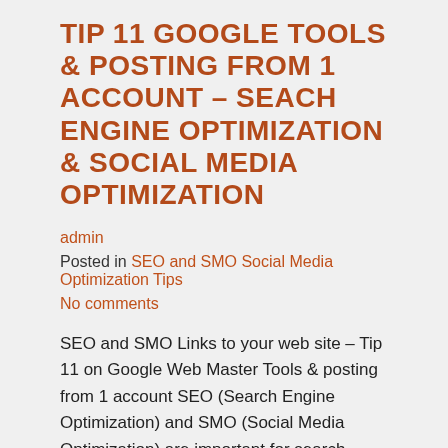TIP 11 GOOGLE TOOLS & POSTING FROM 1 ACCOUNT – SEACH ENGINE OPTIMIZATION & SOCIAL MEDIA OPTIMIZATION
admin
Posted in SEO and SMO Social Media Optimization Tips
No comments
SEO and SMO Links to your web site – Tip 11 on Google Web Master Tools & posting from 1 account SEO (Search Engine Optimization) and SMO (Social Media Optimization) are important for search engine rankings, so here are a couple of tips – free on us – compliments of http://www.sozohosting.com/ and